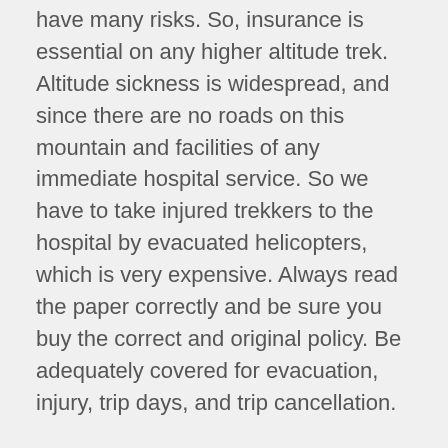have many risks. So, insurance is essential on any higher altitude trek. Altitude sickness is widespread, and since there are no roads on this mountain and facilities of any immediate hospital service. So we have to take injured trekkers to the hospital by evacuated helicopters, which is very expensive. Always read the paper correctly and be sure you buy the correct and original policy. Be adequately covered for evacuation, injury, trip days, and trip cancellation.
Guides and porters
It is not such a pleasant idea to hike independently on the EBC trek because it is the